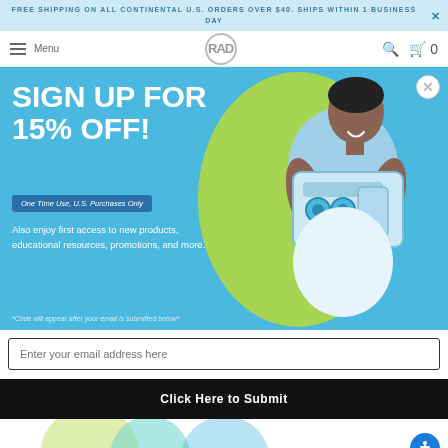FREE SHIPPING ON ALL CONTINENTAL U.S. ORDERS OVER $40. SHIPS WITHIN 1 BUSINESS DAY
[Figure (screenshot): Navigation bar with hamburger menu labeled Menu, RAD logo in circle, search icon, and cart icon with 0 items]
[Figure (infographic): Promotional modal popup on blue background with green blob, person holding audio products, headline SIGN UP FOR 15% OFF!, badge One Time Use, U.S. Purchases Only, subtext about first access to products and resources, footnote about code appearing after email submission]
SIGN UP FOR 15% OFF!
One Time Use, U.S. Purchases Only
Also enjoy first access to new products, educational resources, promotions, and more.
*Code will appear after your email is submitted below*
Enter your email address here
Click Here to Submit